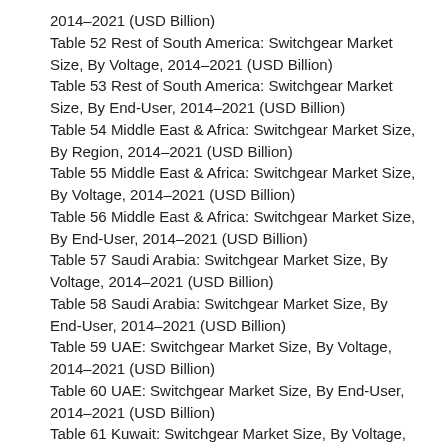2014–2021 (USD Billion)
Table 52 Rest of South America: Switchgear Market Size, By Voltage, 2014–2021 (USD Billion)
Table 53 Rest of South America: Switchgear Market Size, By End-User, 2014–2021 (USD Billion)
Table 54 Middle East & Africa: Switchgear Market Size, By Region, 2014–2021 (USD Billion)
Table 55 Middle East & Africa: Switchgear Market Size, By Voltage, 2014–2021 (USD Billion)
Table 56 Middle East & Africa: Switchgear Market Size, By End-User, 2014–2021 (USD Billion)
Table 57 Saudi Arabia: Switchgear Market Size, By Voltage, 2014–2021 (USD Billion)
Table 58 Saudi Arabia: Switchgear Market Size, By End-User, 2014–2021 (USD Billion)
Table 59 UAE: Switchgear Market Size, By Voltage, 2014–2021 (USD Billion)
Table 60 UAE: Switchgear Market Size, By End-User, 2014–2021 (USD Billion)
Table 61 Kuwait: Switchgear Market Size, By Voltage, 2014–